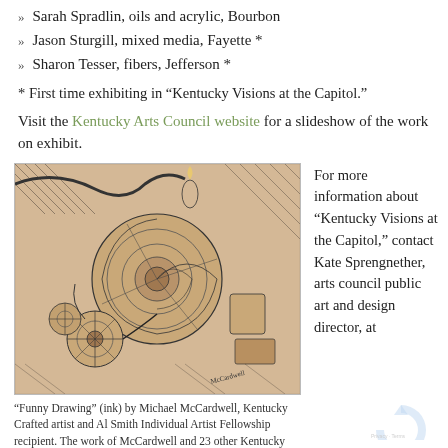Sarah Spradlin, oils and acrylic, Bourbon
Jason Sturgill, mixed media, Fayette *
Sharon Tesser, fibers, Jefferson *
* First time exhibiting in “Kentucky Visions at the Capitol.”
Visit the Kentucky Arts Council website for a slideshow of the work on exhibit.
[Figure (illustration): Intricate black and white ink drawing titled 'Funny Drawing' by Michael McCardwell, showing complex mechanical and organic forms including spirals, gears, and surreal shapes with some sepia tones.]
“Funny Drawing” (ink) by Michael McCardwell, Kentucky Crafted artist and Al Smith Individual Artist Fellowship recipient. The work of McCardwell and 23 other Kentucky artists will be on display
For more information about “Kentucky Visions at the Capitol,” contact Kate Sprengnether, arts council public art and design director, at